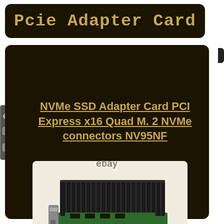Pcie Adapter Card
NVMe SSD Adapter Card PCI Express x16 Quad M. 2 NVMe connectors NV95NF
[Figure (photo): NVMe SSD Adapter Card PCIe x16 with large black heatsink and green PCB, shown at an angle with PCIe bracket visible. eBay watermark below.]